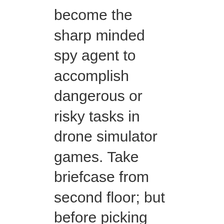become the sharp minded spy agent to accomplish dangerous or risky tasks in drone simulator games. Take briefcase from second floor; but before picking that, you will face high security guards in drone pilot 2018. Become the best RC drone controller and stole the drugs briefcase or other consignment files in drone flying games. This type of criminal act mission will attract you most in 3d drone games. I'm sure you will take unlimited fun during play this future addictive game of drone flight 2018.Control Your Drone:Enhance your city drone expertise and dodge all the guards to enter in the destination block in this drone sim. Then pick your assets with the help of drone camera in aeroplane games 2018. You would have played many